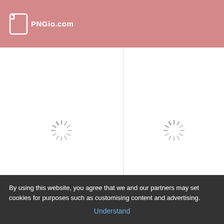PNGio.com
[Figure (screenshot): Loading spinner icon (sun-like radial lines) centered in a white card panel - left column]
Cupcake Free Vector Download (159 Free Vector) For Commercial Use ...
4287  1524
[Figure (screenshot): Loading spinner icon (sun-like radial lines) centered in a white card panel - right column]
Cupcake Png, Vectors, PSD, And Clipart For Free...
By using this website, you agree that we and our partners may set cookies for purposes such as customising content and advertising.
Understand